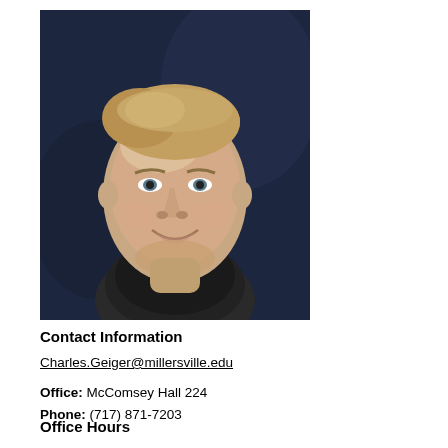[Figure (photo): Headshot photo of a middle-aged man with short blonde/light brown hair, smiling, wearing a dark top, against a dark blue/grey background]
Contact Information
Charles.Geiger@millersville.edu
Office: McComsey Hall 224
Phone: (717) 871-7203
Office Hours
M:  11:00 - 12:00 pm
T:   1:00 - 2:00 pm
W:  11:00 - 12:00 pm
R:   1:00 - 2:00 pm